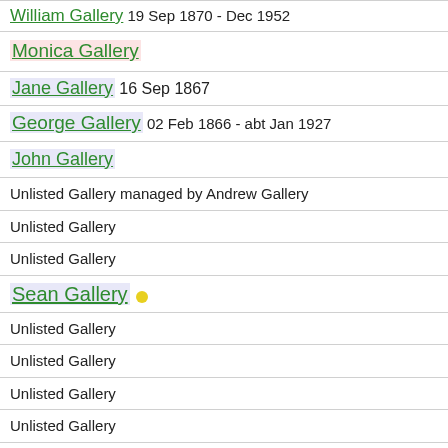William Gallery 19 Sep 1870 - Dec 1952
Monica Gallery
Jane Gallery 16 Sep 1867
George Gallery 02 Feb 1866 - abt Jan 1927
John Gallery
Unlisted Gallery managed by Andrew Gallery
Unlisted Gallery
Unlisted Gallery
Sean Gallery •
Unlisted Gallery
Unlisted Gallery
Unlisted Gallery
Unlisted Gallery
Unlisted Gallery
Henry Gallery 10 Sep 1884 - abt ...